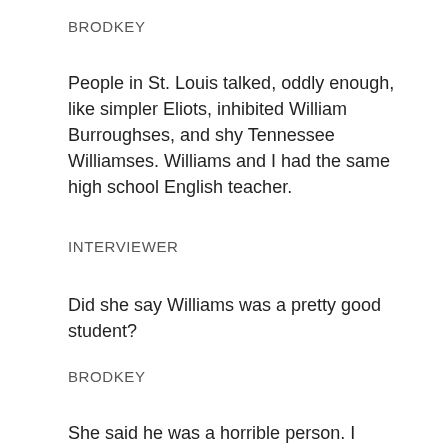BRODKEY
People in St. Louis talked, oddly enough, like simpler Eliots, inhibited William Burroughses, and shy Tennessee Williamses. Williams and I had the same high school English teacher.
INTERVIEWER
Did she say Williams was a pretty good student?
BRODKEY
She said he was a horrible person. I